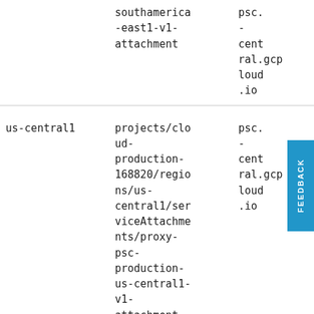| Region | Service Attachment | PSC |
| --- | --- | --- |
|  | southamerica-east1-v1-attachment | psc.-central.gcp loud.io |
| us-central1 | projects/cloud-production-168820/regions/us-central1/serviceAttachments/proxy-psc-production-us-central1-v1-attachment | psc.-cent ral.gcp loud.io |